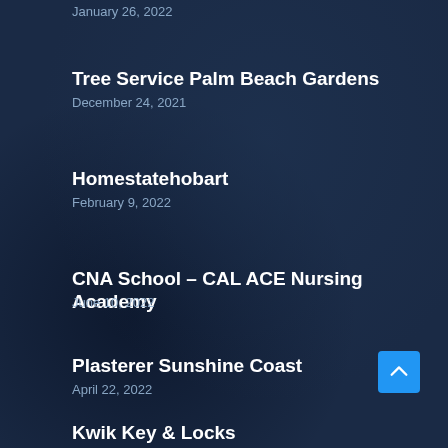January 26, 2022
Tree Service Palm Beach Gardens
December 24, 2021
Homestatehobart
February 9, 2022
CNA School – CAL ACE Nursing Academy
June 10, 2022
Plasterer Sunshine Coast
April 22, 2022
Kwik Key & Locks
December 24, 2021